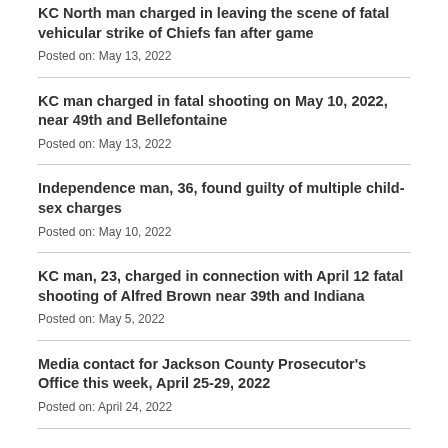KC North man charged in leaving the scene of fatal vehicular strike of Chiefs fan after game
Posted on: May 13, 2022
KC man charged in fatal shooting on May 10, 2022, near 49th and Bellefontaine
Posted on: May 13, 2022
Independence man, 36, found guilty of multiple child-sex charges
Posted on: May 10, 2022
KC man, 23, charged in connection with April 12 fatal shooting of Alfred Brown near 39th and Indiana
Posted on: May 5, 2022
Media contact for Jackson County Prosecutor's Office this week, April 25-29, 2022
Posted on: April 24, 2022